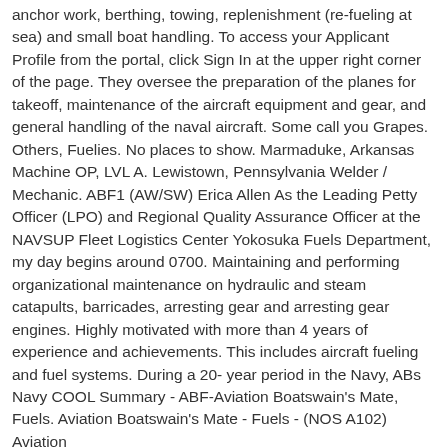anchor work, berthing, towing, replenishment (re-fueling at sea) and small boat handling. To access your Applicant Profile from the portal, click Sign In at the upper right corner of the page. They oversee the preparation of the planes for takeoff, maintenance of the aircraft equipment and gear, and general handling of the naval aircraft. Some call you Grapes. Others, Fuelies. No places to show. Marmaduke, Arkansas Machine OP, LVL A. Lewistown, Pennsylvania Welder / Mechanic. ABF1 (AW/SW) Erica Allen As the Leading Petty Officer (LPO) and Regional Quality Assurance Officer at the NAVSUP Fleet Logistics Center Yokosuka Fuels Department, my day begins around 0700. Maintaining and performing organizational maintenance on hydraulic and steam catapults, barricades, arresting gear and arresting gear engines. Highly motivated with more than 4 years of experience and achievements. This includes aircraft fueling and fuel systems. During a 20- year period in the Navy, ABs Navy COOL Summary - ABF-Aviation Boatswain's Mate, Fuels. Aviation Boatswain's Mate - Fuels - (NOS A102) Aviation